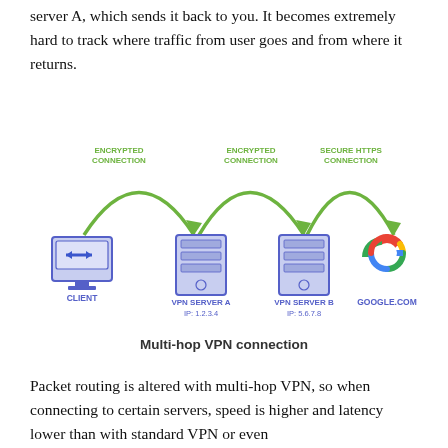server A, which sends it back to you. It becomes extremely hard to track where traffic from user goes and from where it returns.
[Figure (infographic): Multi-hop VPN connection diagram showing CLIENT connected via ENCRYPTED CONNECTION arc to VPN SERVER A (IP: 1.2.3.4), then via ENCRYPTED CONNECTION arc to VPN SERVER B (IP: 5.6.7.8), then via SECURE HTTPS CONNECTION arc to GOOGLE.COM. Each node shown as an icon: computer monitor with arrows for client, server rack icons for VPN servers, Google G logo for google.com. Arcs are green with arrows.]
Multi-hop VPN connection
Packet routing is altered with multi-hop VPN, so when connecting to certain servers, speed is higher and latency lower than with standard VPN or even